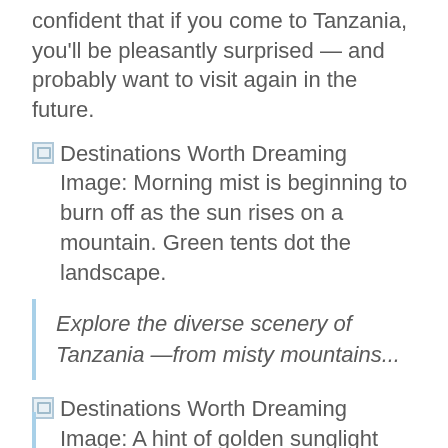confident that if you come to Tanzania, you'll be pleasantly surprised — and probably want to visit again in the future.
[Figure (illustration): Broken image placeholder icon followed by alt text: Destinations Worth Dreaming Image: Morning mist is beginning to burn off as the sun rises on a mountain. Green tents dot the landscape.]
Explore the diverse scenery of Tanzania —from misty mountains...
[Figure (illustration): Broken image placeholder icon followed by alt text: Destinations Worth Dreaming Image: A hint of golden sunglight graces green plains dotted with a handful of trees.]